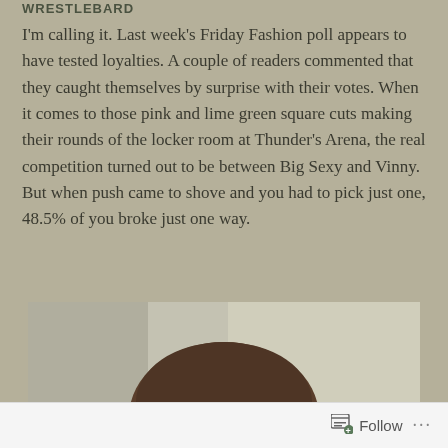WRESTLEBARD
I'm calling it. Last week's Friday Fashion poll appears to have tested loyalties. A couple of readers commented that they caught themselves by surprise with their votes. When it comes to those pink and lime green square cuts making their rounds of the locker room at Thunder's Arena, the real competition turned out to be between Big Sexy and Vinny. But when push came to shove and you had to pick just one, 48.5% of you broke just one way.
[Figure (photo): Portrait photo of a young man with medium-length brown hair, facing the camera with a slight smile, photographed against a light gray/beige wall background.]
Follow ...